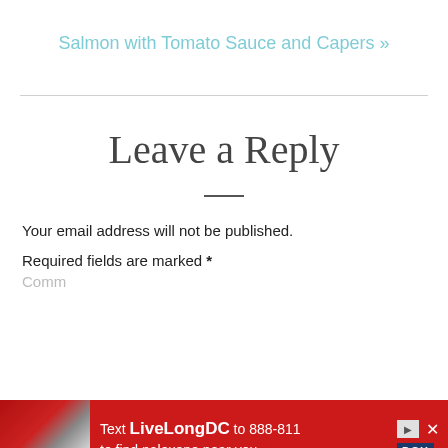Salmon with Tomato Sauce and Capers »
Leave a Reply
Your email address will not be published.
Required fields are marked *
Comm...
[Figure (photo): Advertisement banner: red background with image of person and text 'Text LiveLongDC to 888-811 to find naloxone near you.']